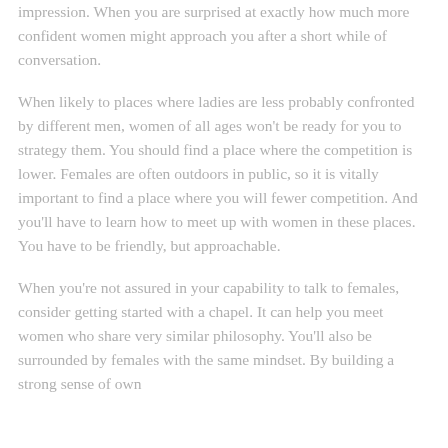impression. When you are surprised at exactly how much more confident women might approach you after a short while of conversation.
When likely to places where ladies are less probably confronted by different men, women of all ages won't be ready for you to strategy them. You should find a place where the competition is lower. Females are often outdoors in public, so it is vitally important to find a place where you will fewer competition. And you'll have to learn how to meet up with women in these places. You have to be friendly, but approachable.
When you're not assured in your capability to talk to females, consider getting started with a chapel. It can help you meet women who share very similar philosophy. You'll also be surrounded by females with the same mindset. By building a strong sense of own